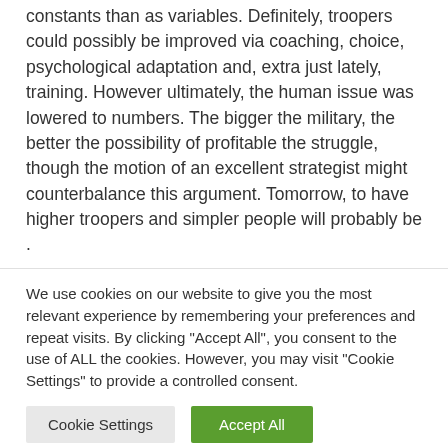constants than as variables. Definitely, troopers could possibly be improved via coaching, choice, psychological adaptation and, extra just lately, training. However ultimately, the human issue was lowered to numbers. The bigger the military, the better the possibility of profitable the struggle, though the motion of an excellent strategist might counterbalance this argument. Tomorrow, to have higher troopers and simpler people will probably be .
We use cookies on our website to give you the most relevant experience by remembering your preferences and repeat visits. By clicking "Accept All", you consent to the use of ALL the cookies. However, you may visit "Cookie Settings" to provide a controlled consent.